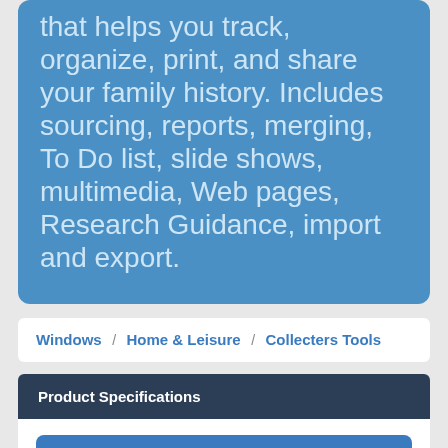that helps you track, organize, print, and share your family history. Includes sourcing, reports, merging, To Do list, slide shows, multimedia, Web pages, Research Guidance, import and export.
Windows / Home & Leisure / Collecters Tools
Product Specifications
Download
User Rating: